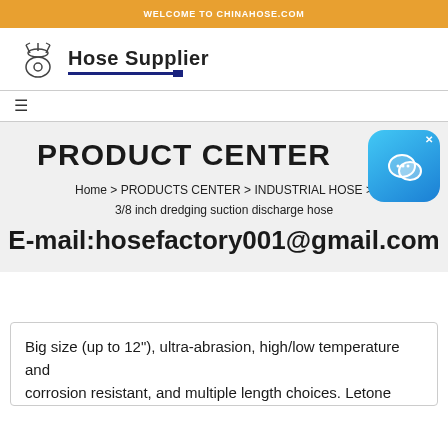WELCOME TO CHINAHOSE.COM
[Figure (logo): Hose Supplier logo with industrial equipment icon and bold text]
PRODUCT CENTER
Home > PRODUCTS CENTER > INDUSTRIAL HOSE > 3/8 inch dredging suction discharge hose
E-mail:hosefactory001@gmail.com
Big size (up to 12"), ultra-abrasion, high/low temperature and corrosion resistant, and multiple length choices. Letone...